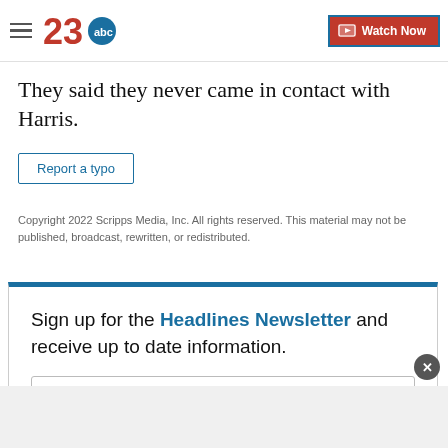23abc | Watch Now
They said they never came in contact with Harris.
Report a typo
Copyright 2022 Scripps Media, Inc. All rights reserved. This material may not be published, broadcast, rewritten, or redistributed.
Sign up for the Headlines Newsletter and receive up to date information.
E-mail